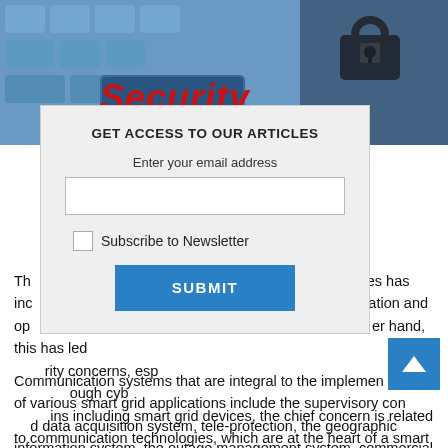[Figure (photo): Keyboard with a blue 'Security' key in red bold italic text, and a padlock/key object in the upper right corner]
GET ACCESS TO OUR ARTICLES
Enter your email address
[email input field]
[checkbox] Subscribe to Newsletter
[SUBMIT button]
The growing use of digital technologies and ICT practices has increased the efficiency of electricity distribution, information and operations management in the power sector. On the other hand, this has led to vulnerability of these power infrastructure to security concerns, especially cyber threats. Although the power grid, though cyber threats can occur across all power system domains including smart grid devices, the chief concern is related to communication technologies, which are at the heart of a smart grid.
Communication systems that are integral to the implementation of various smart grid applications include the supervisory control and data acquisition system, tele-protection, the geographic information system, the outage management system, commercial